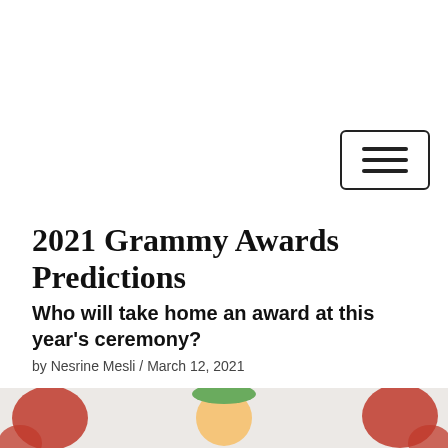[Figure (other): Hamburger menu button icon with three horizontal bars inside a rounded rectangle border]
2021 Grammy Awards Predictions
Who will take home an award at this year's ceremony?
by Nesrine Mesli / March 12, 2021
[Figure (illustration): Cartoon illustration of a person, partially visible at the bottom of the page, on a light grey background]